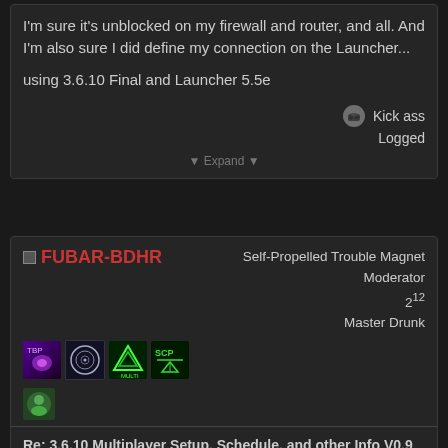I'm sure it's unblocked on my firewall and router, and all. And I'm also sure I did define my connection on the Launcher...
using 3.6.10 Final and Launcher 5.5e
Kick ass
Logged
▼ Expand ▼
FUBAR-BDHR
Self-Propelled Trouble Magnet
Moderator
2^12
Master Drunk
Re: 3.6.10 Multiplayer Setup, Schedule, and other Info V0.9 CURRENT AS OF JULY 19TH   Reply #15 on: July 21, 2009, 12:54:47 am